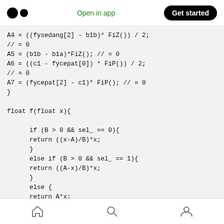Open in app | Get started
A4 = ((fysedang[2] - b1b)* FiZ()) / 2;
// = 0
A5 = (b1b - b1a)*FiZ(); // = 0
A6 = ((c1 - fycepat[0]) * FiP()) / 2;
// = 0
A7 = (fycepat[2] - c1)* FiP(); // = 0
}

float f(float x){

      if (B > 0 && sel_ == 0){
      return ((x-A)/B)*x;
      }
      else if (B > 0 && sel_ == 1){
      return ((A-x)/B)*x;
      }
      else {
      return A*x;
home | search | profile